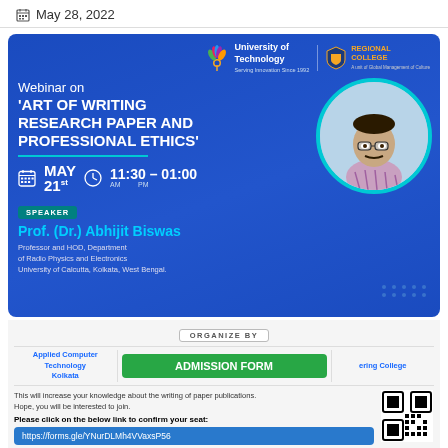May 28, 2022
[Figure (infographic): Webinar flyer for 'Art of Writing Research Paper and Professional Ethics' featuring Prof. (Dr.) Abhijit Biswas, organized by Applied Computer Technology Kolkata and Engineering College. Event on May 21st, 11:30 AM - 01:00 PM. Logos of University of Technology and Regional College shown. Speaker photo included. Admission form button and QR code for registration at https://forms.gle/YNurDLMh4VVaxsP56.]
This will increase your knowledge about the writing of paper publications. Hope, you will be interested to join.
Please click on the below link to confirm your seat:
https://forms.gle/YNurDLMh4VVaxsP56